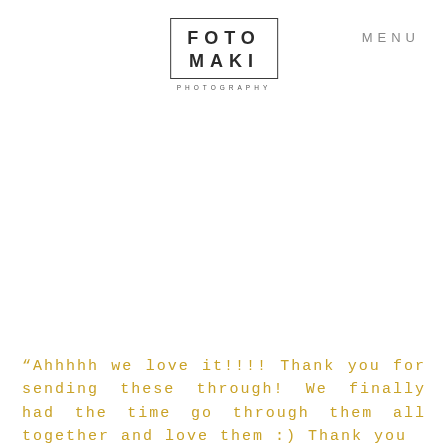FOTO MAKI PHOTOGRAPHY   MENU
“Ahhhhh we love it!!!! Thank you for sending these through! We finally had the time go through them all together and love them :) Thank you